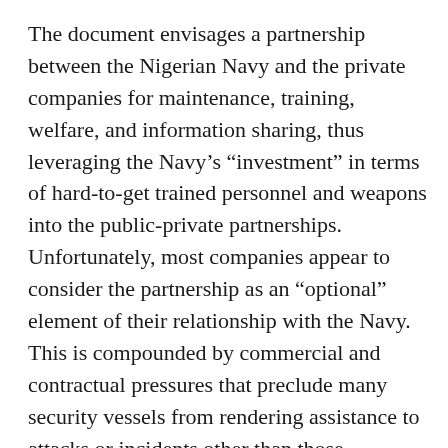The document envisages a partnership between the Nigerian Navy and the private companies for maintenance, training, welfare, and information sharing, thus leveraging the Navy's “investment” in terms of hard-to-get trained personnel and weapons into the public-private partnerships. Unfortunately, most companies appear to consider the partnership as an “optional” element of their relationship with the Navy. This is compounded by commercial and contractual pressures that preclude many security vessels from rendering assistance to attacks or incidents other than those involving their clients. Unless the MoU is enforced more rigorously, it is therefore unlikely that anyone except for a handful of commercial clients with sufficiently deep pockets will benefit from this